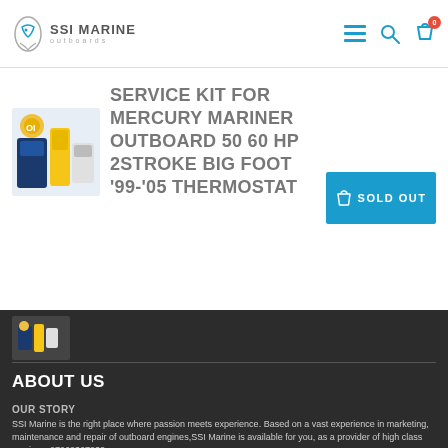[Figure (logo): SSI Marine Outboards logo with fish icon]
SERVICE KIT FOR MERCURY MARINER OUTBOARD 50 60 HP 2STROKE BIG FOOT '99-'05 THERMOSTAT
[Figure (photo): Product photo of service kit items including bottles and accessories]
SOLD OUT
[Figure (photo): Small thumbnail of service kit product]
ABOUT US
OUR STORY
SSI Marine is the right place where passion meets experience. Based on a vast experience in marketing, maintenance and repair of outboard engines,SSI Marine is available for you, as a provider of high class services. 07960367038